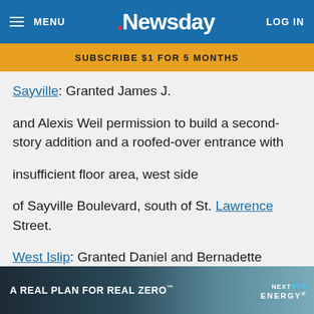MENU | .Newsday | LOG IN
SUBSCRIBE $1 FOR 5 MONTHS
Sayville: Granted James J. and Alexis Weil permission to build a second-story addition and a roofed-over entrance with insufficient floor area, west side of Sayville Boulevard, south of St. Lawrence Street.
West Islip: Granted Daniel and Bernadette Lafferty permission to build two one-story additions with insufficient floor-area ratio, and retain a deck with insuffi... e of Tahlul...
[Figure (photo): Advertisement banner: A Real Plan For Real Zero (NextEra Energy) showing a worker and wind turbines]